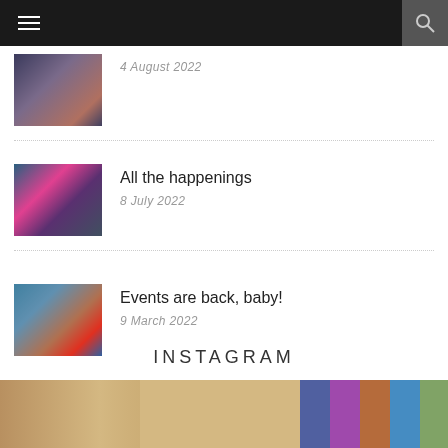Navigation bar with hamburger menu and search icon
4 August 2022
All the happenings
8 July 2022
Events are back, baby!
9 March 2022
INSTAGRAM
[Figure (photo): Bottom strip showing two people and stained glass window]